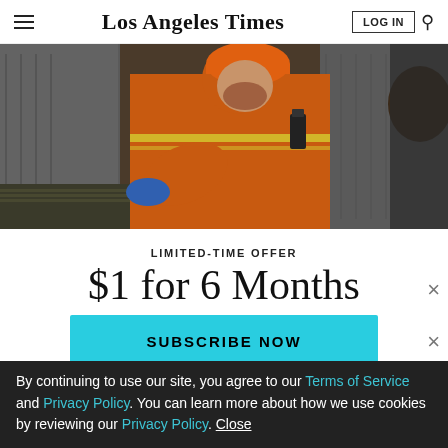Los Angeles Times
[Figure (photo): Worker in orange coveralls and hard hat working near industrial containers]
LIMITED-TIME OFFER
$1 for 6 Months
SUBSCRIBE NOW
By continuing to use our site, you agree to our Terms of Service and Privacy Policy. You can learn more about how we use cookies by reviewing our Privacy Policy. Close